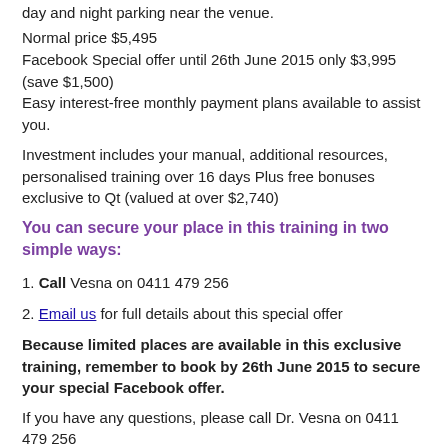day and night parking near the venue.
Normal price $5,495
Facebook Special offer until 26th June 2015 only $3,995 (save $1,500)
Easy interest-free monthly payment plans available to assist you.
Investment includes your manual, additional resources, personalised training over 16 days Plus free bonuses exclusive to Qt (valued at over $2,740)
You can secure your place in this training in two simple ways:
1. Call Vesna on 0411 479 256
2. Email us for full details about this special offer
Because limited places are available in this exclusive training, remember to book by 26th June 2015 to secure your special Facebook offer.
If you have any questions, please call Dr. Vesna on 0411 479 256